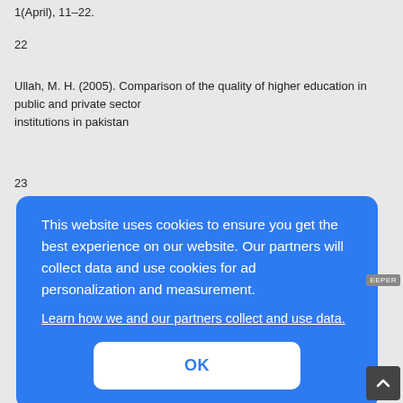1(April), 11–22.
22
Ullah, M. H. (2005). Comparison of the quality of higher education in public and private sector institutions in pakistan
23
[Figure (screenshot): Cookie consent overlay on a blue rounded-rectangle background. Text: 'This website uses cookies to ensure you get the best experience on our website. Our partners will collect data and use cookies for ad personalization and measurement.' with a 'Learn how we and our partners collect and use data.' link and an OK button. A scroll-to-top arrow button appears at bottom right, and a dark image section is partially visible behind the overlay.]